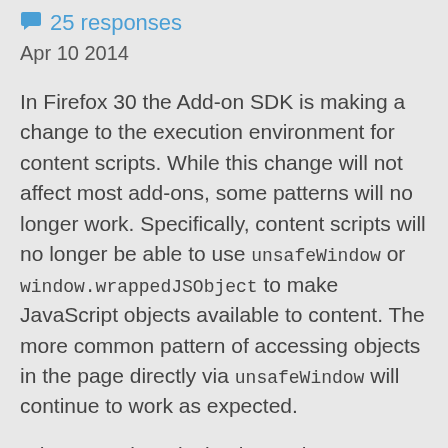25 responses
Apr 10 2014
In Firefox 30 the Add-on SDK is making a change to the execution environment for content scripts. While this change will not affect most add-ons, some patterns will no longer work. Specifically, content scripts will no longer be able to use unsafeWindow or window.wrappedJSObject to make JavaScript objects available to content. The more common pattern of accessing objects in the page directly via unsafeWindow will continue to work as expected.
What we're introducing instead are some new APIs that you can use to share functions and objects with content explicitly. While you're working on